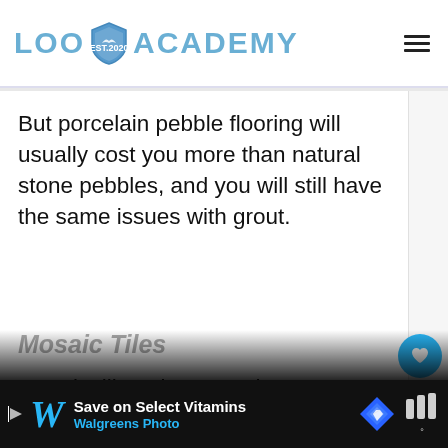Loo Academy
But porcelain pebble flooring will usually cost you more than natural stone pebbles, and you will still have the same issues with grout.
Mosaic Tiles
Mosaic tiling gives you the same unique styling that is achieved through river rock flooring. Some would argue that mosaic tiled floors
[Figure (other): What's Next callout with pebble texture image - How to Grout a Pebble...]
Save on Select Vitamins - Walgreens Photo (advertisement)